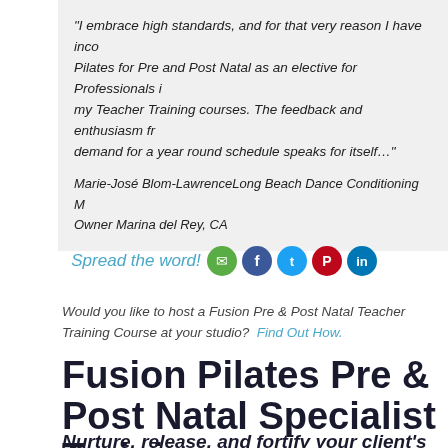“I embrace high standards, and for that very reason I have incorporated Pilates for Pre and Post Natal as an elective for Professionals in my Teacher Training courses. The feedback and enthusiasm from demand for a year round schedule speaks for itself…”
Marie-José Blom-LawrenceLong Beach Dance Conditioning M Owner Marina del Rey, CA
Spread the word!
[Figure (infographic): Social sharing icons: email (green), Facebook (dark blue), Twitter (light blue), Pinterest (red), LinkedIn (dark blue)]
Would you like to host a Fusion Pre & Post Natal Teacher Training Course at your studio?  Find Out How.
Fusion Pilates Pre & Post Natal Specialist Training
Nurture, release, and fortify your client’s body before and after birth.